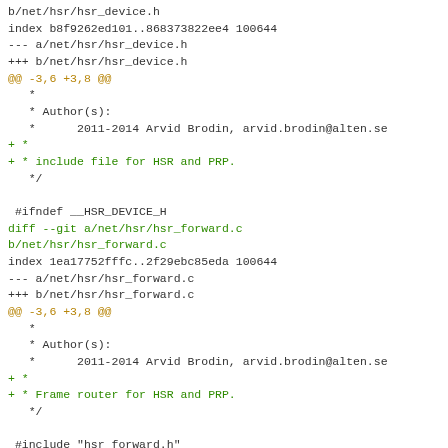b/net/hsr/hsr_device.h
index b8f9262ed101..868373822ee4 100644
--- a/net/hsr/hsr_device.h
+++ b/net/hsr/hsr_device.h
@@ -3,6 +3,8 @@
   *
   * Author(s):
   *      2011-2014 Arvid Brodin, arvid.brodin@alten.se
+ *
+ * include file for HSR and PRP.
   */

 #ifndef __HSR_DEVICE_H
diff --git a/net/hsr/hsr_forward.c b/net/hsr/hsr_forward.c
index 1ea17752fffc..2f29ebc85eda 100644
--- a/net/hsr/hsr_forward.c
+++ b/net/hsr/hsr_forward.c
@@ -3,6 +3,8 @@
   *
   * Author(s):
   *      2011-2014 Arvid Brodin, arvid.brodin@alten.se
+ *
+ * Frame router for HSR and PRP.
   */

 #include "hsr_forward.h"
diff --git a/net/hsr/hsr_forward.h b/net/hsr/hsr_forward.h
index 51a69295566c..b2a6fa319d94 100644
--- a/net/hsr/hsr_forward.h